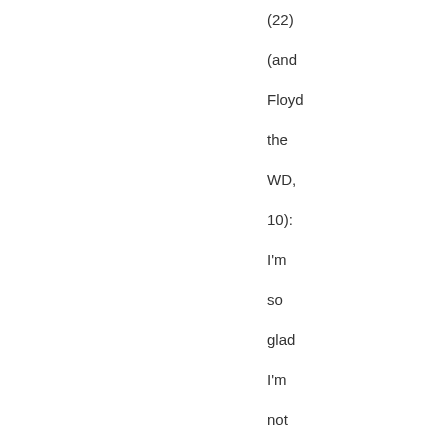(22) (and Floyd the WD, 10): I'm so glad I'm not the only one who knows that particular expression.
Comment by Justin H — October 21,